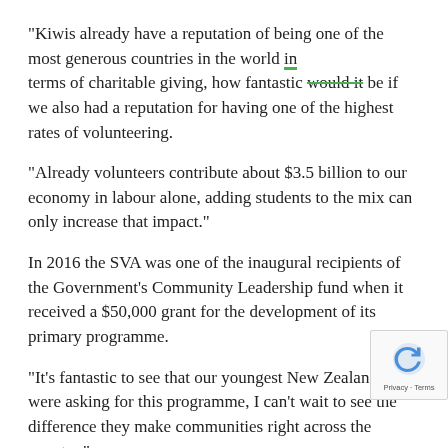“Kiwis already have a reputation of being one of the most generous countries in the world in terms of charitable giving, how fantastic would it be if we also had a reputation for having one of the highest rates of volunteering.
“Already volunteers contribute about $3.5 billion to our economy in labour alone, adding students to the mix can only increase that impact.”
In 2016 the SVA was one of the inaugural recipients of the Government’s Community Leadership fund when it received a $50,000 grant for the development of its primary programme.
“It’s fantastic to see that our youngest New Zealanders were asking for this programme, I can’t wait to see the difference they make communities right across the country.”